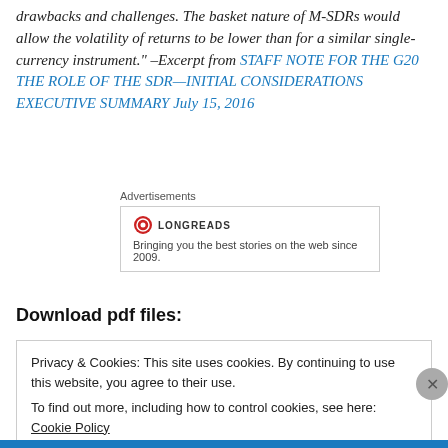drawbacks and challenges. The basket nature of M-SDRs would allow the volatility of returns to be lower than for a similar single-currency instrument." –Excerpt from STAFF NOTE FOR THE G20 THE ROLE OF THE SDR—INITIAL CONSIDERATIONS EXECUTIVE SUMMARY July 15, 2016
Advertisements
[Figure (other): Longreads advertisement box with logo and tagline: Bringing you the best stories on the web since 2009.]
Download pdf files:
Privacy & Cookies: This site uses cookies. By continuing to use this website, you agree to their use.
To find out more, including how to control cookies, see here: Cookie Policy
Close and accept